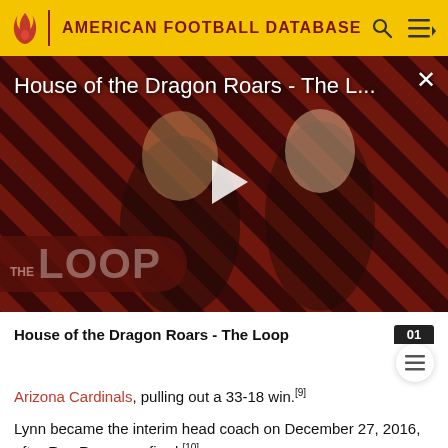AMERICAN FOOTBALL DATABASE
[Figure (screenshot): Video thumbnail for 'House of the Dragon Roars - The L...' showing two characters in medieval costume against a red diagonal stripe background with 'THE LOOP' text overlay and a play button in the center. A close (X) button is in the top right.]
House of the Dragon Roars - The Loop
Arizona Cardinals, pulling out a 33-18 win.[9]
Lynn became the interim head coach on December 27, 2016, after Rex Ryan was fired.[10]